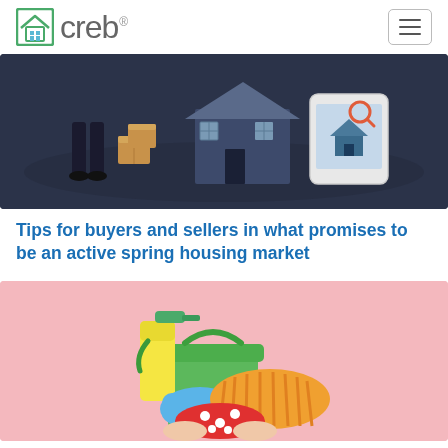creb
[Figure (illustration): Isometric illustration of a person with moving boxes next to a house on a dark navy background, with a smartphone showing a house search interface]
Tips for buyers and sellers in what promises to be an active spring housing market
[Figure (photo): Photo of hands holding a green bucket with cleaning supplies including a yellow spray bottle, blue rubber glove, and orange mop head, against a pink background]